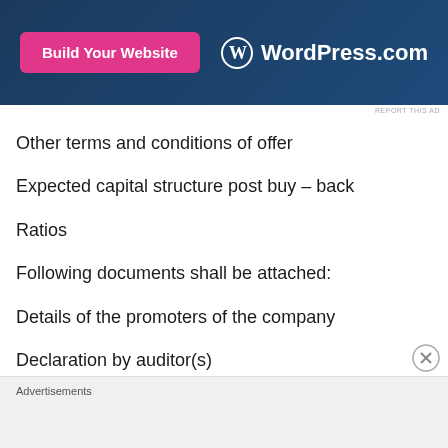[Figure (other): WordPress.com advertisement banner with pink 'Build Your Website' button and WordPress logo on dark blue background]
Other terms and conditions of offer
Expected capital structure post buy – back
Ratios
Following documents shall be attached:
Details of the promoters of the company
Declaration by auditor(s)
Copy of the board resolution
Advertisements